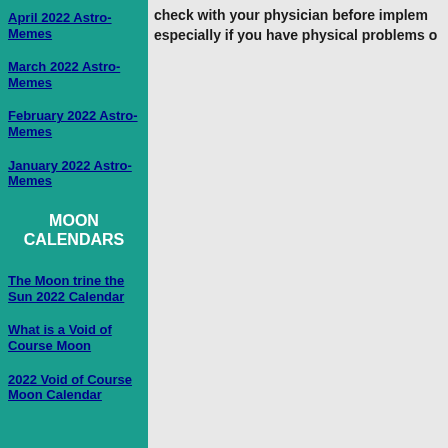April 2022 Astro-Memes
March 2022 Astro-Memes
February 2022 Astro-Memes
January 2022 Astro-Memes
MOON CALENDARS
The Moon trine the Sun 2022 Calendar
What is a Void of Course Moon
2022 Void of Course Moon Calendar
check with your physician before implem… especially if you have physical problems o…